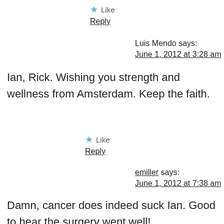★ Like
Reply
Luis Mendo says:
June 1, 2012 at 3:28 am
Ian, Rick. Wishing you strength and wellness from Amsterdam. Keep the faith.
★ Like
Reply
emiller says:
June 1, 2012 at 7:38 am
Damn, cancer does indeed suck Ian. Good to hear the surgery went well!